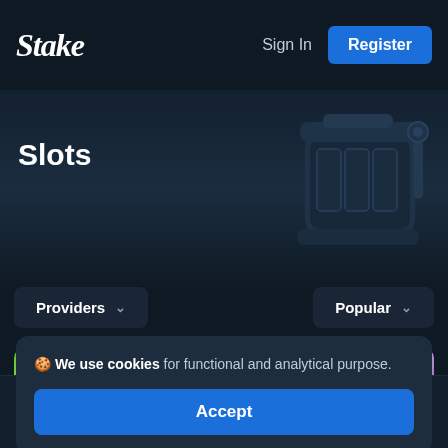Stake | Sign In | Register
Slots
[Figure (illustration): Slot machine illustration in dark blue-gray tones]
Providers ▾
Popular ▾
[Figure (illustration): Three colorful game card thumbnails: green gradient, gold gradient, purple gradient]
🍪 We use cookies for functional and analytical purpose.
Accept
Menu | Search | Chat | Bets | Sports